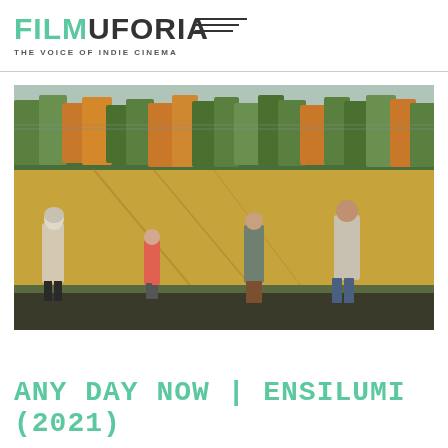FILMUFORIA — THE VOICE OF INDIE CINEMA
[Figure (photo): Four people (a woman in hijab and cardigan, a young girl in floral dress, a teenage boy, and a man with beard in jeans) walking along a road beside a golden field with a dense forest of green and autumn-orange trees in the background, in warm evening light.]
Any Day Now | Ensilumi (2021)